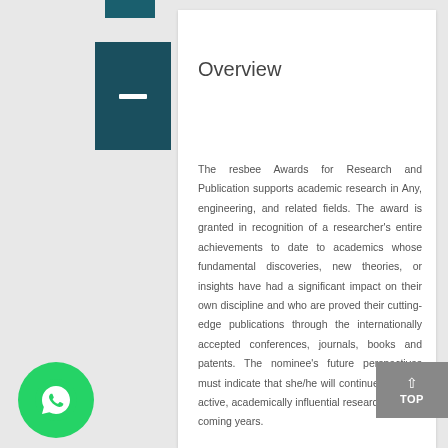Overview
The resbee Awards for Research and Publication supports academic research in Any, engineering, and related fields. The award is granted in recognition of a researcher's entire achievements to date to academics whose fundamental discoveries, new theories, or insights have had a significant impact on their own discipline and who are proved their cutting-edge publications through the internationally accepted conferences, journals, books and patents. The nominee's future perspectives must indicate that she/he will continue to be an active, academically influential researcher in the coming years.